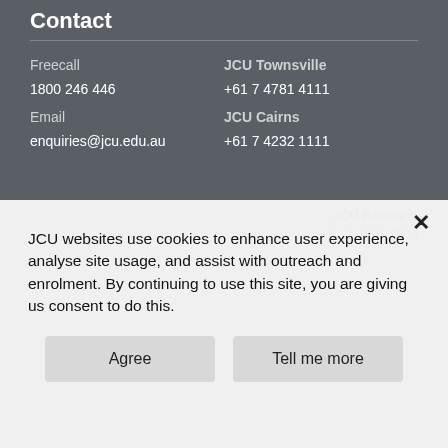Contact
|  |  |
| --- | --- |
| Freecall | JCU Townsville |
| 1800 246 446 | +61 7 4781 4111 |
| Email | JCU Cairns |
| enquiries@jcu.edu.au | +61 7 4232 1111 |
JCU Brisbane
+61 7 3001 7600
JCU websites use cookies to enhance user experience, analyse site usage, and assist with outreach and enrolment. By continuing to use this site, you are giving us consent to do this.
Agree
Tell me more